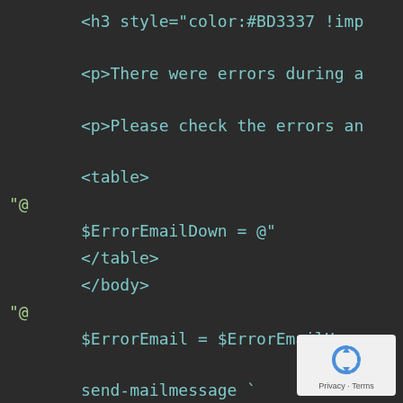[Figure (screenshot): Code editor screenshot showing HTML/PowerShell code on dark background. Lines visible: '<h3 style="color:#BD3337 !imp', '<p>There were errors during a', '<p>Please check the errors an', '<table>', '"@', '$ErrorEmailDown = @"', '</table>', '</body>', '"@', '$ErrorEmail = $ErrorEmailUp +', 'send-mailmessage `', '-To $To `', '-Subject ...' with a Google reCAPTCHA Privacy badge in bottom right corner.]